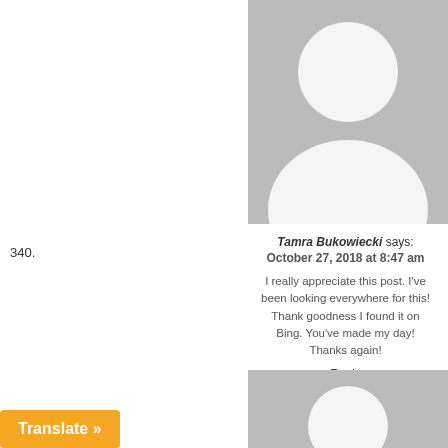[Figure (illustration): Gray default user avatar silhouette (top portion), showing head and shoulders]
340.
Tamra Bukowiecki says: October 27, 2018 at 8:47 am
I really appreciate this post. I've been looking everywhere for this! Thank goodness I found it on Bing. You've made my day! Thanks again!
Reply
[Figure (illustration): Gray default user avatar silhouette (bottom portion), partially visible]
Translate »